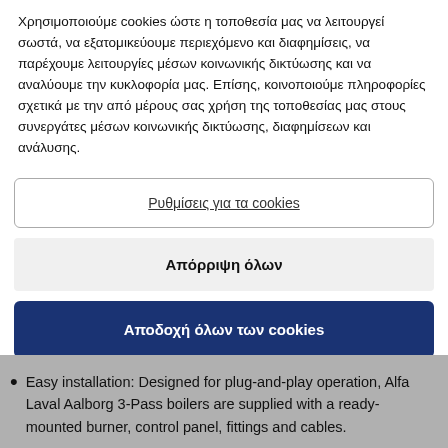Χρησιμοποιούμε cookies ώστε η τοποθεσία μας να λειτουργεί σωστά, να εξατομικεύουμε περιεχόμενο και διαφημίσεις, να παρέχουμε λειτουργίες μέσων κοινωνικής δικτύωσης και να αναλύουμε την κυκλοφορία μας. Επίσης, κοινοποιούμε πληροφορίες σχετικά με την από μέρους σας χρήση της τοποθεσίας μας στους συνεργάτες μέσων κοινωνικής δικτύωσης, διαφημίσεων και ανάλυσης.
Ρυθμίσεις για τα cookies
Απόρριψη όλων
Αποδοχή όλων των cookies
Easy installation: Designed for plug-and-play operation, Alfa Laval Aalborg 3-Pass boilers are supplied with a ready-mounted burner, control panel, fittings and cables.